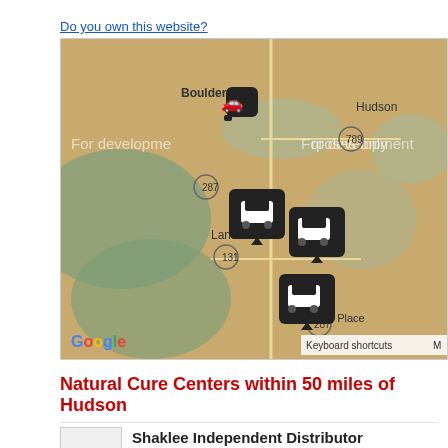Do you own this website?
[Figure (map): Google Maps showing locations near Lander, WY with car/driving icons as map markers. Visible place names: Boulder Flats, Hudson, Lander, Kotey Place. Road labels: 287, 789, 131. Watermark: 'For development purposes only'. Google logo and 'Keyboard shortcuts' visible.]
Natural Cure Centers within 50 miles of Hudson
Shaklee Independent Distributor
103 Horse Hobble Ln Lander,WY
9.2 miles from Hudson
Family Chiropractic Center